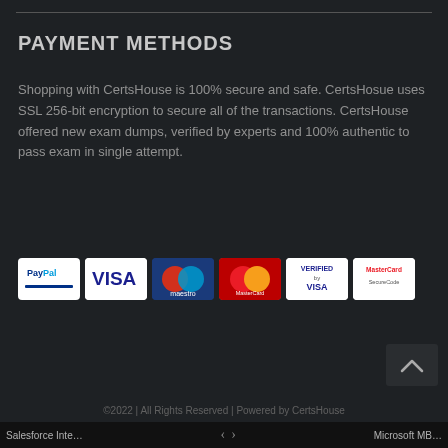PAYMENT METHODS
Shopping with CertsHouse is 100% secure and safe. CertsHosue uses SSL 256-bit encryption to secure all of the transactions. CertsHouse offered new exam dumps, verified by experts and 100% authentic to pass exam in single attempt.
[Figure (infographic): Row of six payment method logos: PayPal, VISA, Maestro, MasterCard, Verified by VISA, MasterCard SecureCode]
©2022 | All Rights Reserved | Powered by CertsHouse
Salesforce Inte… < > Microsoft MB…